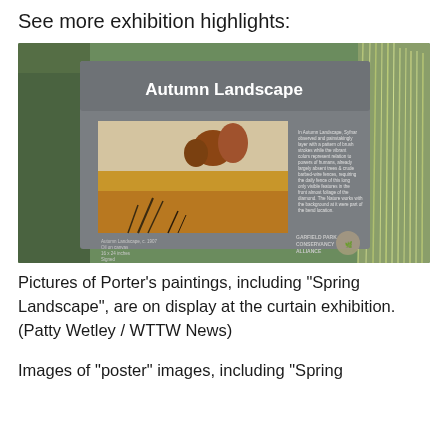See more exhibition highlights:
[Figure (photo): Photograph of an outdoor exhibition sign reading 'Autumn Landscape' mounted on a post among green hedges and ornamental grasses. The sign shows a painting of an autumn field scene with warm golden and orange tones, dried vegetation, and trees in the background. Small descriptive text and a Garfield Park Conservancy Alliance logo appear on the right side of the sign.]
Pictures of Porter’s paintings, including “Spring Landscape”, are on display at the curtain exhibition. (Patty Wetley / WTTW News)
Images of “poster” images, including “Spring